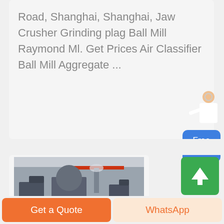Road, Shanghai, Shanghai, Jaw Crusher Grinding plag Ball Mill Raymond Ml. Get Prices Air Classifier Ball Mill Aggregate ...
[Figure (illustration): Chat widget with a person icon and a blue 'Free chat' button]
[Figure (photo): Factory interior showing industrial grinding/milling machinery]
[Figure (illustration): Green scroll-to-top button with upward arrow]
Get a Quote
WhatsApp